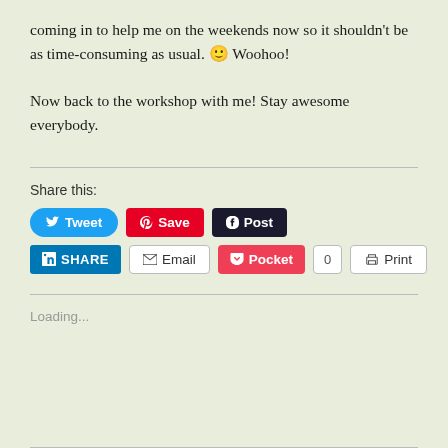coming in to help me on the weekends now so it shouldn't be as time-consuming as usual. 🙂 Woohoo!
Now back to the workshop with me! Stay awesome everybody.
Share this:
[Figure (screenshot): Social share buttons: Tweet (Twitter, blue), Save (Pinterest, red), Post (Tumblr, dark), SHARE (LinkedIn, blue), Email (white/outlined), Pocket (red heart), count badge 0, Print (white/outlined)]
Loading...